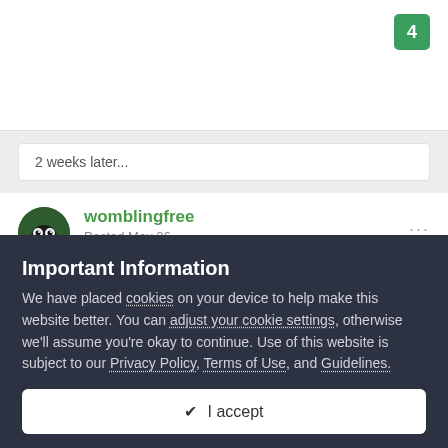4
2 weeks later...
womblingfree
Posted May 26
On 09/05/2022 at 21:08, wev said:
Important Information
We have placed cookies on your device to help make this website better. You can adjust your cookie settings, otherwise we'll assume you're okay to continue. Use of this website is subject to our Privacy Policy, Terms of Use, and Guidelines.
✓  I accept